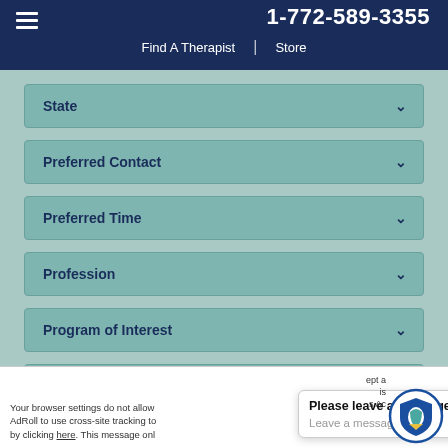1-772-589-3355
Find A Therapist | Store
State
Preferred Contact
Preferred Time
Profession
Program of Interest
How did you hear about us?
Please leave a message!
Leave a message
Your browser settings do not allow AdRoll to use cross-site tracking to by clicking here. This message onl